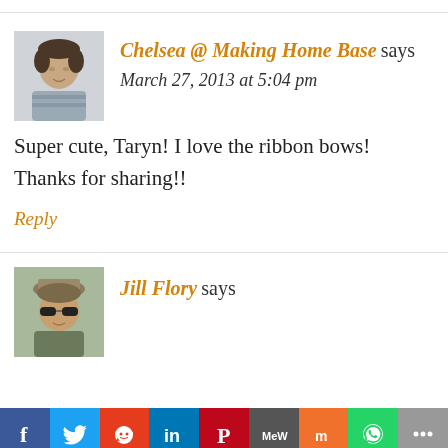Chelsea @ Making Home Base says
March 27, 2013 at 5:04 pm
Super cute, Taryn! I love the ribbon bows! Thanks for sharing!!
Reply
Jill Flory says
[Figure (infographic): Social sharing bar with icons for Facebook, Twitter, Reddit, LinkedIn, Pinterest, MeWe, Mix, WhatsApp, and More]